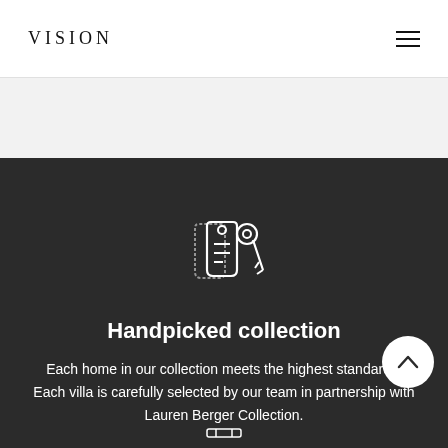VISION
[Figure (illustration): Keys and tag icon outline in white on dark background]
Handpicked collection
Each home in our collection meets the highest standards. Each villa is carefully selected by our team in partnership with Lauren Berger Collection.